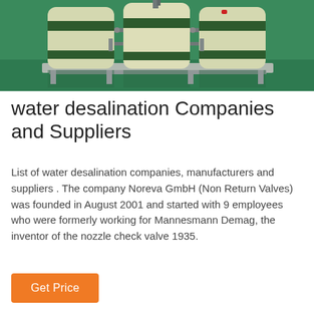[Figure (photo): Photo of water desalination equipment: three large cylindrical white/cream filter tanks with dark green bands, mounted on a green metal frame/skid on a green floor. Pipes and fittings visible between the tanks.]
water desalination Companies and Suppliers
List of water desalination companies, manufacturers and suppliers . The company Noreva GmbH (Non Return Valves) was founded in August 2001 and started with 9 employees who were formerly working for Mannesmann Demag, the inventor of the nozzle check valve 1935.
Get Price